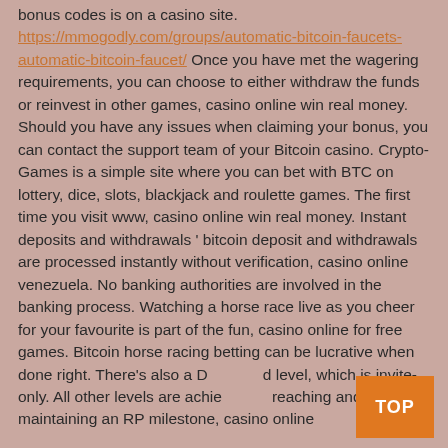bonus codes is on a casino site. https://mmogodly.com/groups/automatic-bitcoin-faucets-automatic-bitcoin-faucet/ Once you have met the wagering requirements, you can choose to either withdraw the funds or reinvest in other games, casino online win real money. Should you have any issues when claiming your bonus, you can contact the support team of your Bitcoin casino. Crypto-Games is a simple site where you can bet with BTC on lottery, dice, slots, blackjack and roulette games. The first time you visit www, casino online win real money. Instant deposits and withdrawals ' bitcoin deposit and withdrawals are processed instantly without verification, casino online venezuela. No banking authorities are involved in the banking process. Watching a horse race live as you cheer for your favourite is part of the fun, casino online for free games. Bitcoin horse racing betting can be lucrative when done right. There's also a Diamond level, which is invite-only. All other levels are achieved by reaching and maintaining an RP milestone, casino online